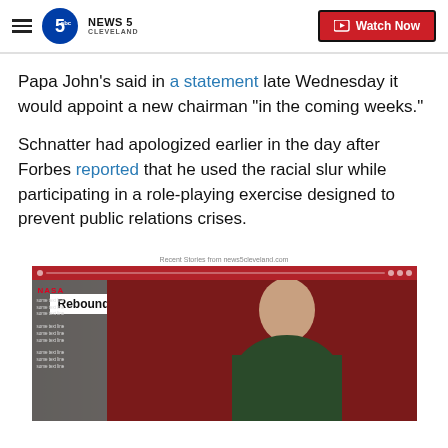News 5 Cleveland | Watch Now
Papa John's said in a statement late Wednesday it would appoint a new chairman "in the coming weeks."
Schnatter had apologized earlier in the day after Forbes reported that he used the racial slur while participating in a role-playing exercise designed to prevent public relations crises.
Recent Stories from news5cleveland.com
[Figure (screenshot): Video player screenshot showing a bald man in a dark green polo shirt standing in front of a red background. A white label reading 'Rebound' appears in the upper left. Three dots (menu icon) appear on the upper right. A red toolbar is visible at the top of the player. A NASA logo and sidebar text partially visible on the left.]